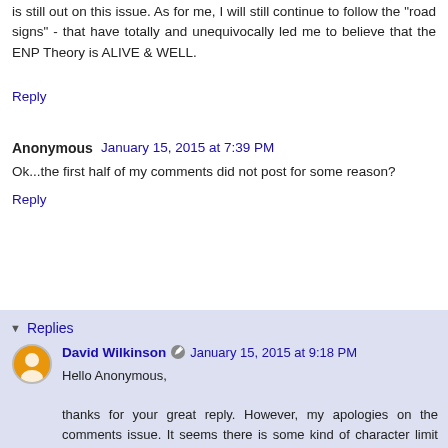is still out on this issue. As for me, I will still continue to follow the "road signs" - that have totally and unequivocally led me to believe that the ENP Theory is ALIVE & WELL.
Reply
Anonymous  January 15, 2015 at 7:39 PM
Ok...the first half of my comments did not post for some reason?
Reply
Replies
David Wilkinson  January 15, 2015 at 9:18 PM
Hello Anonymous,
thanks for your great reply. However, my apologies on the comments issue. It seems there is some kind of character limit on the comments.